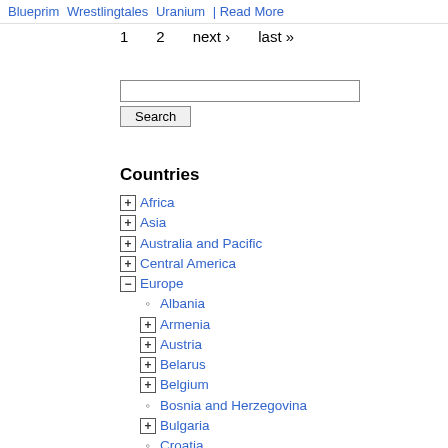Blueprim  Wrestlingtales  Uranium  |  Read More
1  2  next ›  last »
Search [input] Search [button]
Countries
[+] Africa
[+] Asia
[+] Australia and Pacific
[+] Central America
[-] Europe
[o] Albania
[+] Armenia
[+] Austria
[+] Belarus
[+] Belgium
[o] Bosnia and Herzegovina
[+] Bulgaria
[o] Croatia
[o] Cyprus
[+] Czech Republic
[o] Denmark
[o] Estonia
[+] Finland
[+] France
[o] Georgia